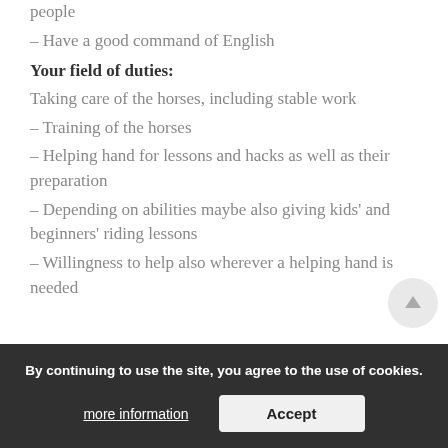people
– Have a good command of English
Your field of duties:
Taking care of the horses, including stable work
– Training of the horses
– Helping hand for lessons and hacks as well as their preparation
– Depending on abilities maybe also giving kids' and beginners' riding lessons
– Willingness to help also wherever a helping hand is needed
Have we caught your interest?
Please send us your application, including a short riding video (walk, trot, canter, no jumping also possible), preferred starting date of your stay.